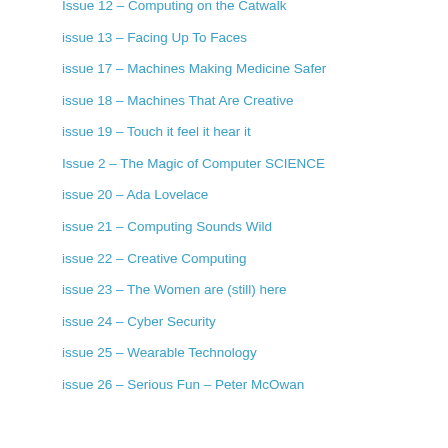Issue 12 – Computing on the Catwalk
issue 13 – Facing Up To Faces
issue 17 – Machines Making Medicine Safer
issue 18 – Machines That Are Creative
issue 19 – Touch it feel it hear it
Issue 2 – The Magic of Computer SCIENCE
issue 20 – Ada Lovelace
issue 21 – Computing Sounds Wild
issue 22 – Creative Computing
issue 23 – The Women are (still) here
issue 24 – Cyber Security
issue 25 – Wearable Technology
issue 26 – Serious Fun – Peter McOwan